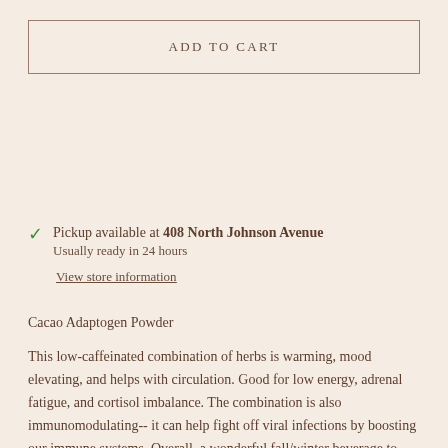ADD TO CART
Pickup available at 408 North Johnson Avenue
Usually ready in 24 hours
View store information
Cacao Adaptogen Powder
This low-caffeinated combination of herbs is warming, mood elevating, and helps with circulation. Good for low energy, adrenal fatigue, and cortisol imbalance. The combination is also immunomodulating-- it can help fight off viral infections by boosting our immune systems. Overall, a wonderful fall/winter beverage to improve overall wellness.
Contains cocoa and cacao, as well reishi and ashwagandha, maca, which are all